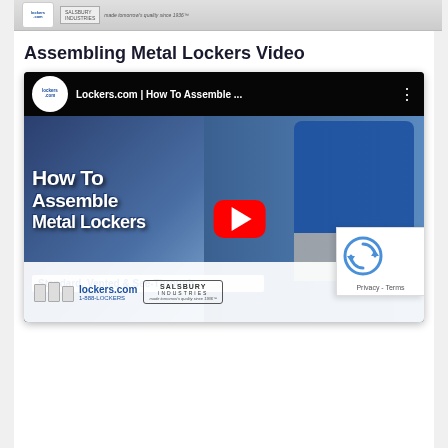[Figure (photo): Top strip showing lockers.com logo and Salsbury Industries branding with product tagline]
Assembling Metal Lockers Video
[Figure (screenshot): YouTube video thumbnail for Lockers.com | How To Assemble Metal Lockers. Shows a person in blue shirt assembling a metal locker. Text overlays: 'How To Assemble Metal Lockers' and 'Standard, Vented & See-Through'. Red YouTube play button in center. Bottom bar shows lockers.com and Salsbury Industries logos. reCAPTCHA overlay visible on right edge.]